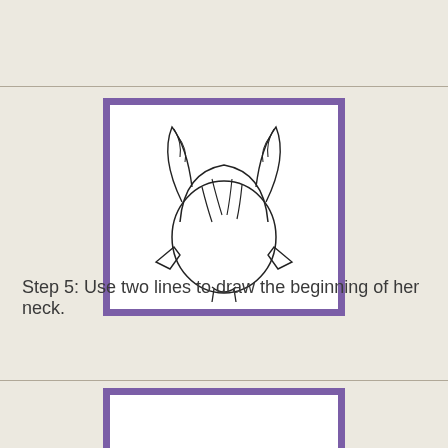[Figure (illustration): A cartoon elf/fairy girl head with pointed ears and pigtail hair, shown from above shoulders, outlined in black on white background, framed with a purple border.]
Step 5: Use two lines to draw the beginning of her neck.
[Figure (illustration): A cartoon elf/fairy girl head similar to above but partially cropped, with neck lines added, outlined in black on white background, framed with a purple border.]